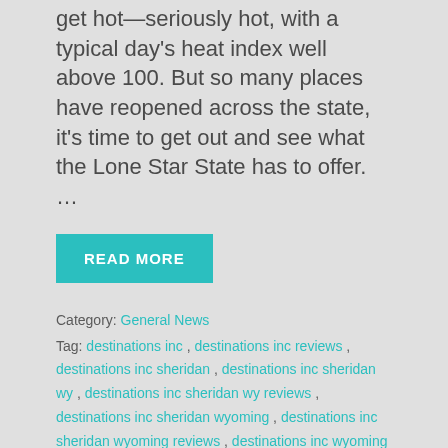get hot—seriously hot, with a typical day's heat index well above 100. But so many places have reopened across the state, it's time to get out and see what the Lone Star State has to offer. …
READ MORE
Category: General News
Tag: destinations inc , destinations inc reviews , destinations inc sheridan , destinations inc sheridan wy , destinations inc sheridan wy reviews , destinations inc sheridan wyoming , destinations inc sheridan wyoming reviews , destinations inc wyoming
IT'S TIME TO VISIT HOT SPRINGS, ARKANSAS